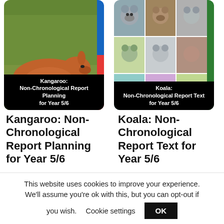[Figure (illustration): Kangaroo product card with blue/red accent bar, black label reading 'Kangaroo: Non-Chronological Report Planning for Year 5/6', and photo of sleeping kangaroo]
[Figure (illustration): Koala product card with green accent bar, black label reading 'Koala: Non-Chronological Report Text for Year 5/6', and grid of 9 koala photos]
Kangaroo: Non-Chronological Report Planning for Year 5/6
Koala: Non-Chronological Report Text for Year 5/6
£7.50
£3.00
This website uses cookies to improve your experience. We'll assume you're ok with this, but you can opt-out if you wish.
Cookie settings
OK